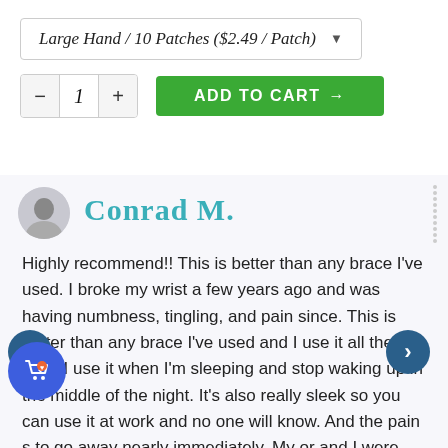Large Hand / 10 Patches ($2.49 / Patch) ▼
- 1 + ADD TO CART →
Conrad M.
Highly recommend!! This is better than any brace I've used. I broke my wrist a few years ago and was having numbness, tingling, and pain since. This is better than any brace I've used and I use it all the time. I use it when I'm sleeping and stop waking up in the middle of the night. It's also really sleek so you can use it at work and no one will know. And the pain s to go away nearly immediately. My or and I were discussing carpal tunnel release surgery, but as long as I use these, my